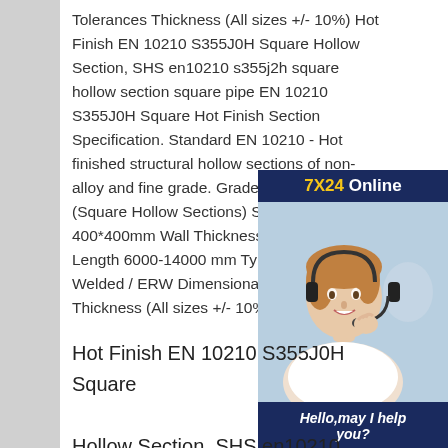Tolerances Thickness (All sizes +/- 10%) Hot Finish EN 10210 S355J0H Square Hollow Section, SHS en10210 s355j2h square hollow section square pipe EN 10210 S355J0H Square Hot Finish Section Specification. Standard EN 10210 - Hot finished structural hollow sections of non-alloy and fine grade. Grade S355J0H SHS (Square Hollow Sections) Sizes 20*20mm-400*400mm Wall Thickness 0.5mm - 25mm Length 6000-14000 mm Type Seamless/ Welded / ERW Dimensional Tolerances Thickness (All sizes +/- 10%)
[Figure (other): Online customer service advertisement featuring a woman with headset, '7X24 Online' header, 'Hello, may I help you?' text, and 'Get Latest Price' button]
Hot Finish EN 10210 S355J0H Square Hollow Section, SHS en10210 s355j2h square hollow section square pipe